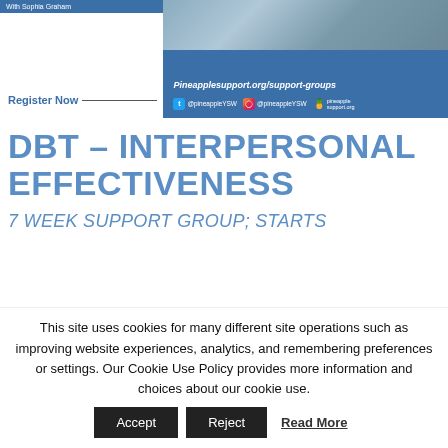[Figure (screenshot): Pineapple Support banner with 'With Sophia Graham' text, Register Now button, URL Pineapplesupport.org/support-groups, social media icons (@pineappleYSW on Twitter and Instagram), and pineapple support logo. Right side shows a nature/outdoor photo background.]
DBT – INTERPERSONAL EFFECTIVENESS
7 WEEK SUPPORT GROUP; STARTS
This site uses cookies for many different site operations such as improving website experiences, analytics, and remembering preferences or settings. Our Cookie Use Policy provides more information and choices about our cookie use.
Accept   Reject   Read More